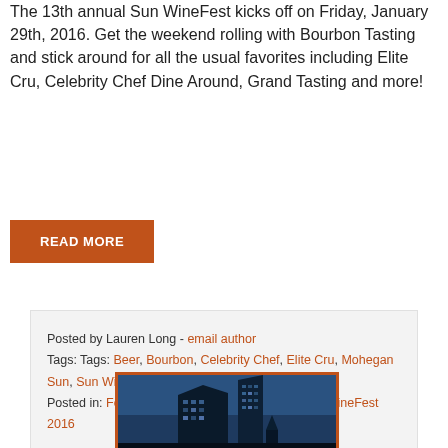The 13th annual Sun WineFest kicks off on Friday, January 29th, 2016. Get the weekend rolling with Bourbon Tasting and stick around for all the usual favorites including Elite Cru, Celebrity Chef Dine Around, Grand Tasting and more!
READ MORE
Posted by Lauren Long - email author
Tags: Tags: Beer, Bourbon, Celebrity Chef, Elite Cru, Mohegan Sun, Sun Winefest, Wine Tasting
Posted in: Food & Beverage, Special Events, Sun WineFest 2016
[Figure (photo): Photo of a tall building at night with blue sky background, framed with an orange border]